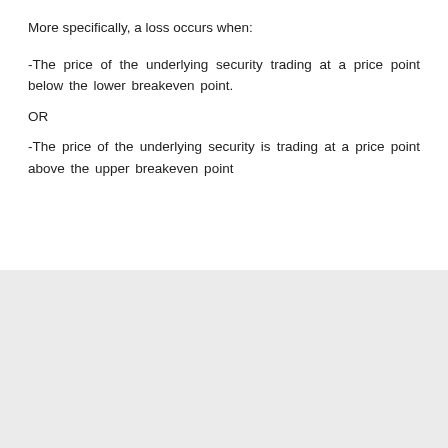More specifically, a loss occurs when:
-The price of the underlying security trading at a price point below the lower breakeven point.
OR
-The price of the underlying security is trading at a price point above the upper breakeven point